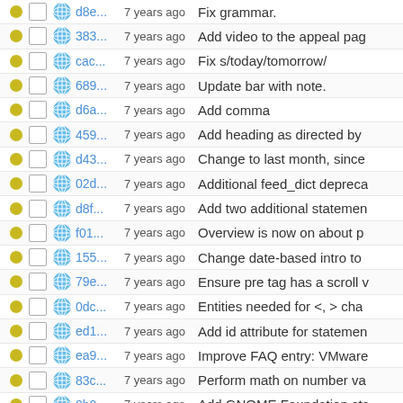d8e...  7 years ago  Fix grammar.
383...  7 years ago  Add video to the appeal pag
cac...  7 years ago  Fix s/today/tomorrow/
689...  7 years ago  Update bar with note.
d6a...  7 years ago  Add comma
459...  7 years ago  Add heading as directed by
d43...  7 years ago  Change to last month, since
02d...  7 years ago  Additional feed_dict depreca
d8f...  7 years ago  Add two additional statemen
f01...  7 years ago  Overview is now on about p
155...  7 years ago  Change date-based intro to
79e...  7 years ago  Ensure pre tag has a scroll v
0dc...  7 years ago  Entities needed for <, > cha
ed1...  7 years ago  Add id attribute for statemen
ea9...  7 years ago  Improve FAQ entry: VMware
83c...  7 years ago  Perform math on number va
0b0...  7 years ago  Add GNOME Foundation sta